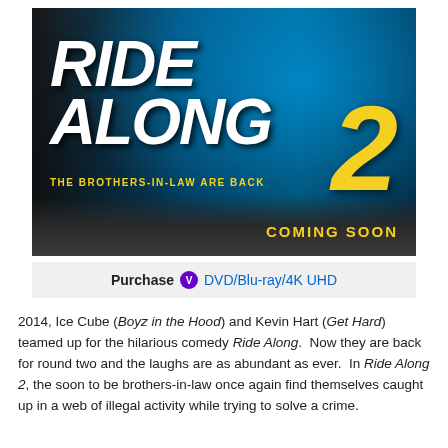[Figure (photo): Movie poster for Ride Along 2 showing two men standing in front of a blue car. Large bold white italic text reads RIDE ALONG with a yellow number 2. Tagline reads THE BROTHERS-IN-LAW ARE BACK. Bottom right shows COMING SOON in yellow.]
Purchase  DVD/Blu-ray/4K UHD
2014, Ice Cube (Boyz in the Hood) and Kevin Hart (Get Hard) teamed up for the hilarious comedy Ride Along.  Now they are back for round two and the laughs are as abundant as ever.  In Ride Along 2, the soon to be brothers-in-law once again find themselves caught up in a web of illegal activity while trying to solve a crime.